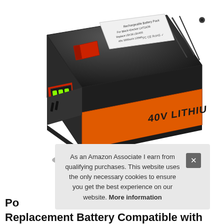[Figure (photo): A Black+Decker 40V Lithium rechargeable battery pack shown at an angle. The battery is predominantly black with an orange stripe label reading '40V LITHIUM'. It has green LED charge indicators on the front panel in a red housing, a red release tab on top, and a white certification label on top showing FCC, CE, RoHS markings.]
As an Amazon Associate I earn from qualifying purchases. This website uses the only necessary cookies to ensure you get the best experience on our website. More information
Po… Replacement Battery Compatible with